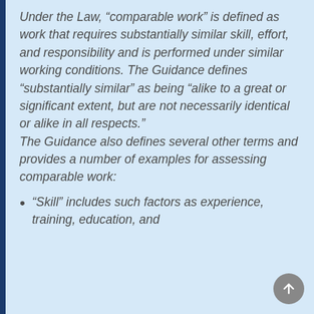Under the Law, “comparable work” is defined as work that requires substantially similar skill, effort, and responsibility and is performed under similar working conditions. The Guidance defines “substantially similar” as being ‚like to a great or significant extent, but are not necessarily identical or alike in all respects.” The Guidance also defines several other terms and provides a number of examples for assessing comparable work:
“Skill” includes such factors as experience, training, education, and